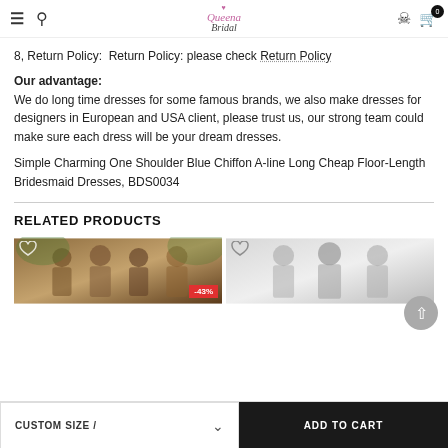Queena Bridal — navigation header with hamburger, search, logo, user, cart icons
8, Return Policy:  Return Policy: please check Return Policy
Our advantage:
We do long time dresses for some famous brands, we also make dresses for designers in European and USA client, please trust us, our strong team could make sure each dress will be your dream dresses.
Simple Charming One Shoulder Blue Chiffon A-line Long Cheap Floor-Length Bridesmaid Dresses, BDS0034
RELATED PRODUCTS
[Figure (photo): Product photo of bridesmaid group in warm-toned setting with -43% discount badge]
[Figure (photo): Product photo of bridesmaid group in light/white-toned setting]